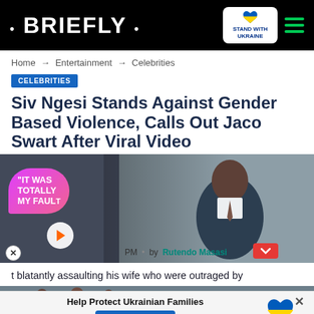· BRIEFLY ·
Home → Entertainment → Celebrities
CELEBRITIES
Siv Ngesi Stands Against Gender Based Violence, Calls Out Jaco Swart After Viral Video
[Figure (screenshot): Video thumbnail overlay with quote bubble reading 'IT WAS TOTALLY MY FAULT' in pink/purple speech bubble with play button, over a photo of a man in a suit]
PM • by Rutendo Masasi
t blatantly assaulting his wife who were outraged by
[Figure (screenshot): Ad banner: Help Protect Ukrainian Families with DONATE NOW button and Ukraine heart logo]